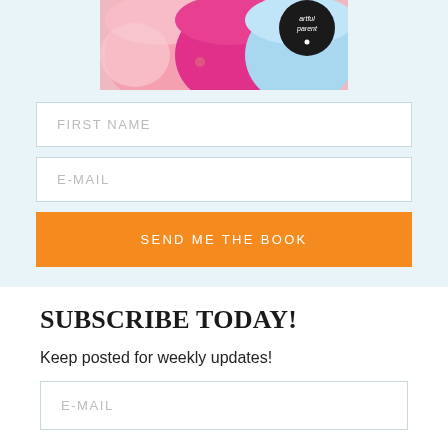[Figure (photo): Colorful paint cups image with 'artful parent' logo badge in the top right corner]
FIRST NAME
E-MAIL
SEND ME THE BOOK
SUBSCRIBE TODAY!
Keep posted for weekly updates!
E-MAIL